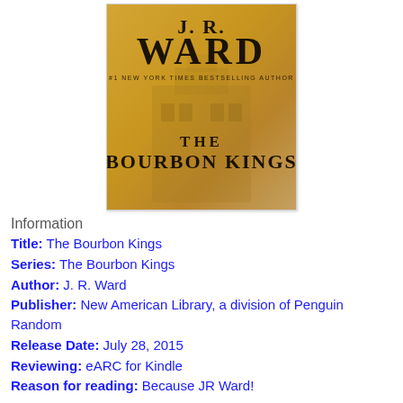[Figure (illustration): Book cover of 'The Bourbon Kings' by J.R. Ward. Golden/amber toned cover with large serif text reading 'J.R. WARD' at top, '#1 NEW YORK TIMES BESTSELLING AUTHOR' below, and 'THE BOURBON KINGS' at the bottom. Background shows a faded architectural image.]
Information
Title: The Bourbon Kings
Series: The Bourbon Kings
Author: J. R. Ward
Publisher: New American Library, a division of Penguin Random
Release Date: July 28, 2015
Reviewing: eARC for Kindle
Reason for reading: Because JR Ward!
The Short A…